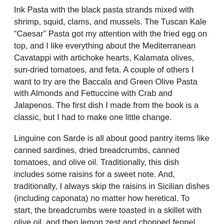Ink Pasta with the black pasta strands mixed with shrimp, squid, clams, and mussels. The Tuscan Kale “Caesar” Pasta got my attention with the fried egg on top, and I like everything about the Mediterranean Cavatappi with artichoke hearts, Kalamata olives, sun-dried tomatoes, and feta. A couple of others I want to try are the Baccala and Green Olive Pasta with Almonds and Fettuccine with Crab and Jalapenos. The first dish I made from the book is a classic, but I had to make one little change.
Linguine con Sarde is all about good pantry items like canned sardines, dried breadcrumbs, canned tomatoes, and olive oil. Traditionally, this dish includes some raisins for a sweet note. And, traditionally, I always skip the raisins in Sicilian dishes (including caponata) no matter how heretical. To start, the breadcrumbs were toasted in a skillet with olive oil, and then lemon zest and chopped fennel fronds were added. Next, the quick sauce was made by sauteeing chopped fennel and minced onion. Garlic and red pepper flakes were added followed by canned tomatoes. Meanwhile, water was brought to a boil for the pasta, and the linguine was cooked and drained.